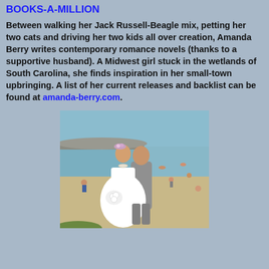BOOKS-A-MILLION
Between walking her Jack Russell-Beagle mix, petting her two cats and driving her two kids all over creation, Amanda Berry writes contemporary romance novels (thanks to a supportive husband). A Midwest girl stuck in the wetlands of South Carolina, she finds inspiration in her small-town upbringing. A list of her current releases and backlist can be found at amanda-berry.com.
[Figure (photo): A couple in wedding attire on a beach. The woman is dressed in a white wedding gown holding a bouquet of white flowers, wearing a floral headpiece. The man is carrying her. Rocky jetty and calm water in the background, with other beachgoers visible.]